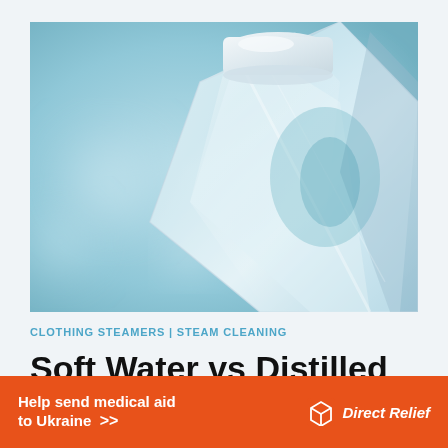[Figure (photo): Close-up photograph of a clear glass water bottle with a white cap, on a light blue blurred background with bokeh light effects]
CLOTHING STEAMERS | STEAM CLEANING
Soft Water vs Distilled Water—What is th…
Help send medical aid to Ukraine >> Direct Relief